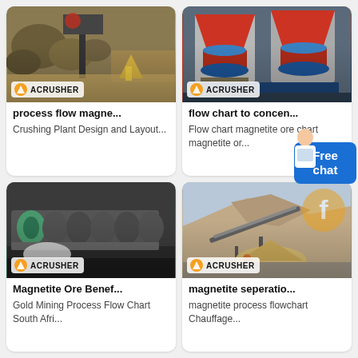[Figure (photo): Mining quarry site with rocks and yellow equipment, ACRUSHER branded]
process flow magne...
Crushing Plant Design and Layout...
[Figure (photo): Industrial cone crushers in red and blue, ACRUSHER branded]
flow chart to concen...
Flow chart magnetite ore chart magnetite or...
[Figure (photo): Screw conveyor / spiral classifier machine in industrial facility, ACRUSHER branded]
Magnetite Ore Benef...
Gold Mining Process Flow Chart South Afri...
[Figure (photo): Open-pit quarry with conveyor belt system on hillside, ACRUSHER branded]
magnetite seperatio...
magnetite process flowchart Chauffage...